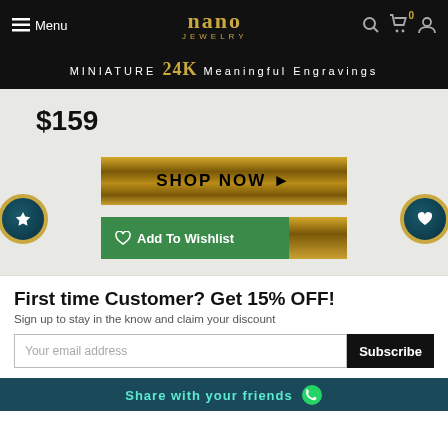Menu | Nano Jewelry
MINIATURE 24K Meaningful Engravings
$159
[Figure (other): SHOP NOW button with gold gradient background and right-arrow]
[Figure (other): Add To Wishlist button split green and gold]
First time Customer? Get 15% OFF!
Sign up to stay in the know and claim your discount
Your email address
Subscribe
Share with your friends